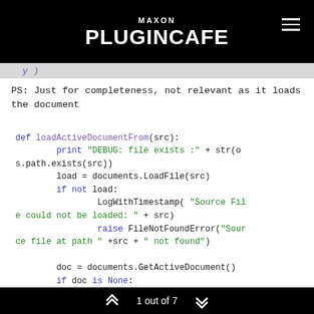MAXON PLUGINCAFE
PS: Just for completeness, not relevant as it loads the document
def loadActiveDocumentFrom(src):
        print "DEBUG: file exists :" + str(os.path.exists(src))
        load = documents.LoadFile(src)
        if not load:
                LogWithTimestamp( "Source File could not be loaded: " + src)
                raise FileNotFoundError("Source file at path " +src + " not found")

        doc = documents.GetActiveDocument()
        if doc is None:
                LogWithTimestamp( "Could not
1 out of 7